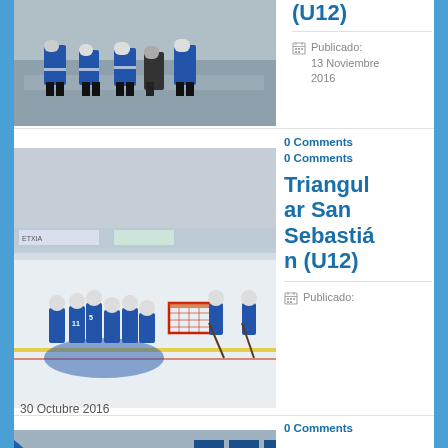[Figure (photo): Hockey players in blue and white uniforms sitting on a bench with ice skates]
(U12)
Publicado: 13 Noviembre 2016
0 Comments
[Figure (photo): Young ice hockey players celebrating in a group on the ice rink, with a goal net visible]
Triangular San Sebastián (U12)
Publicado:
30 Octubre 2016
0 Comments
[Figure (photo): Group of young hockey players celebrating in a locker room]